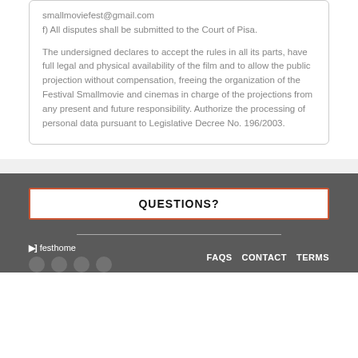smallmoviefest@gmail.com
f) All disputes shall be submitted to the Court of Pisa.

The undersigned declares to accept the rules in all its parts, have full legal and physical availability of the film and to allow the public projection without compensation, freeing the organization of the Festival Smallmovie and cinemas in charge of the projections from any present and future responsibility. Authorize the processing of personal data pursuant to Legislative Decree No. 196/2003.
QUESTIONS?
festhome   FAQS   CONTACT   TERMS